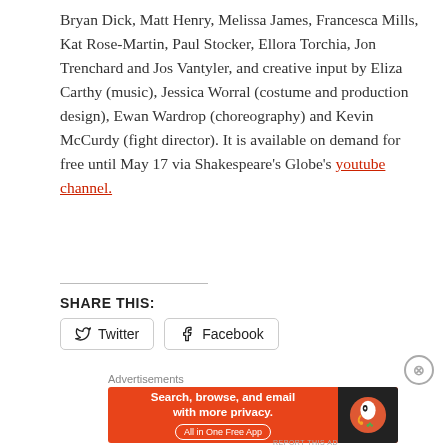Bryan Dick, Matt Henry, Melissa James, Francesca Mills, Kat Rose-Martin, Paul Stocker, Ellora Torchia, Jon Trenchard and Jos Vantyler, and creative input by Eliza Carthy (music), Jessica Worral (costume and production design), Ewan Wardrop (choreography) and Kevin McCurdy (fight director). It is available on demand for free until May 17 via Shakespeare's Globe's youtube channel.
SHARE THIS:
[Figure (infographic): Share buttons for Twitter and Facebook]
Advertisements
[Figure (infographic): DuckDuckGo advertisement banner: Search, browse, and email with more privacy. All in One Free App]